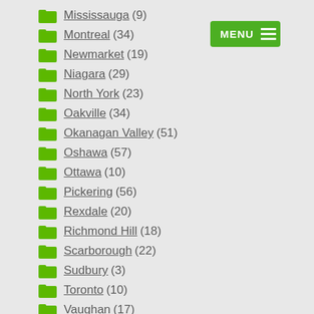Mississauga (9)
Montreal (34)
Newmarket (19)
Niagara (29)
North York (23)
Oakville (34)
Okanagan Valley (51)
Oshawa (57)
Ottawa (10)
Pickering (56)
Rexdale (20)
Richmond Hill (18)
Scarborough (22)
Sudbury (3)
Toronto (10)
Vaughan (17)
Victoria (15)